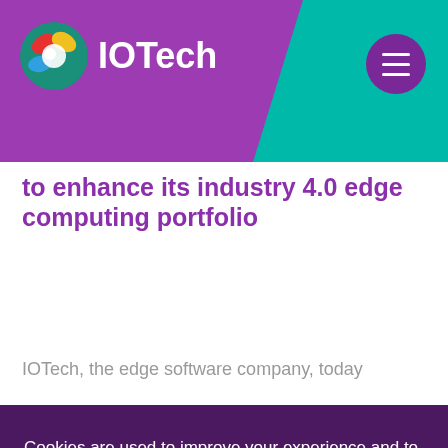[Figure (logo): IOTech company logo with colorful circular icon and white text 'IOTech' on purple background header]
to enhance its industry 4.0 edge computing portfolio
IOTech, the edge software company, today
Cookies are used to improve your experience and to help us understand how you use this website. By continuing you consent to use our cookies.
manage cookie preferences
close message